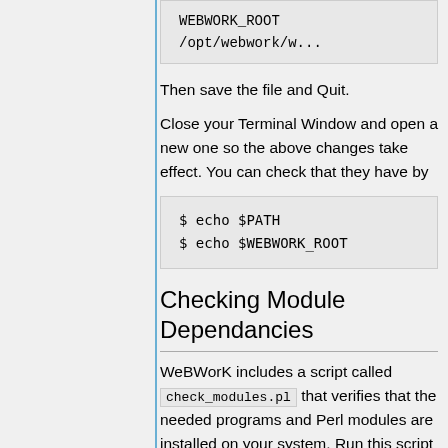WEBWORK_ROOT /opt/webwork/...
Then save the file and Quit.
Close your Terminal Window and open a new one so the above changes take effect. You can check that they have by
$ echo $PATH
$ echo $WEBWORK_ROOT
Checking Module Dependancies
WeBWorK includes a script called check_modules.pl that verifies that the needed programs and Perl modules are installed on your system. Run this script to make sure you have installed the required programs and Perl